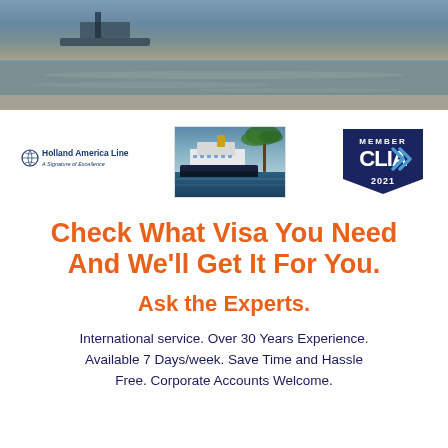[Figure (photo): Aerial or waterside photo of ocean/sea scene with a boat visible, blue-grey water with shoreline]
[Figure (logo): Holland America Line logo - A Signature of Excellence]
[Figure (photo): Photo of a cruise ship near tropical palm trees and blue water]
[Figure (logo): CLIA Member 2021 badge - navy blue badge with CLIA logo]
Check What Visa You Need And We'll Get It For You.
Ask the Experts.
International service. Over 30 Years Experience. Available 7 Days/week. Save Time and Hassle Free. Corporate Accounts Welcome.